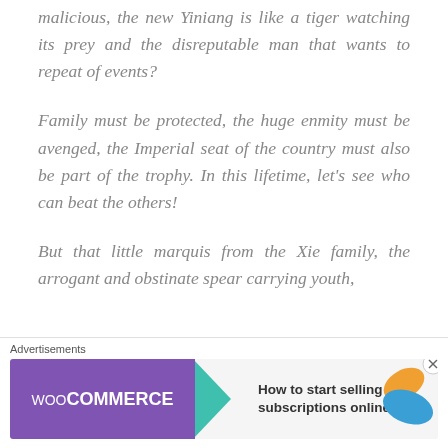malicious, the new Yiniang is like a tiger watching its prey and the disreputable man that wants to repeat of events?
Family must be protected, the huge enmity must be avenged, the Imperial seat of the country must also be part of the trophy. In this lifetime, let's see who can beat the others!
But that little marquis from the Xie family, the arrogant and obstinate spear carrying youth,
[Figure (infographic): WooCommerce advertisement banner with text 'How to start selling subscriptions online', teal arrow graphic and decorative leaf shapes]